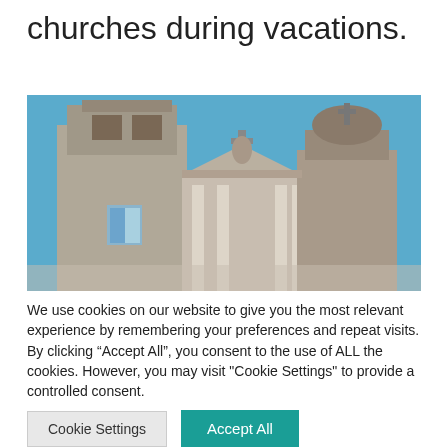churches during vacations.
[Figure (photo): Photograph of church towers and facade against a blue sky, showing ornate baroque architecture with bell towers and crosses.]
We use cookies on our website to give you the most relevant experience by remembering your preferences and repeat visits. By clicking “Accept All”, you consent to the use of ALL the cookies. However, you may visit "Cookie Settings" to provide a controlled consent.
Cookie Settings   Accept All